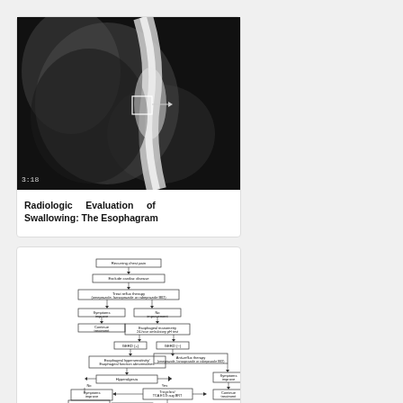[Figure (photo): Grayscale radiologic/fluoroscopic image of the esophagus during swallowing, with a small rectangular annotation marker visible on the image. Timestamp 3:18 visible in lower left.]
Radiologic Evaluation of Swallowing: The Esophagram
[Figure (flowchart): Flowchart depicting the clinical algorithm for evaluation and management of Chest Pain of Esophageal Origin and Reflux. Nodes include: Recurring chest pain, Exclude cardiac disease, Treat reflux therapy, Symptoms improve, No improvement, Continue treatment, Esophageal manometry, 24-hour ambulatory pH test, GERD (+), GERD (-), Esophageal hypersensitivity/Esophageal function abnormalities, Anti-reflux therapy, Hyperalgesia, No, Yes, Tricyclics/TCA ECG aug BRT, Symptoms improve, No improvement, Functional Neuropathic or anxiety, Continue treatment, Symptoms improve, Continue treatment, End point too slow/anti-depressants, Combination, relaxation, exclusion or rehabilitees, No improvement, Symptoms improve, Continue treatment, Psychological consultation, Behavior approaches, Cognitive behavioral therapy, or Hypnotherapy or biofeedback therapy.]
Chest Pain of Esophageal Origin and Reflux Hypersensitivity